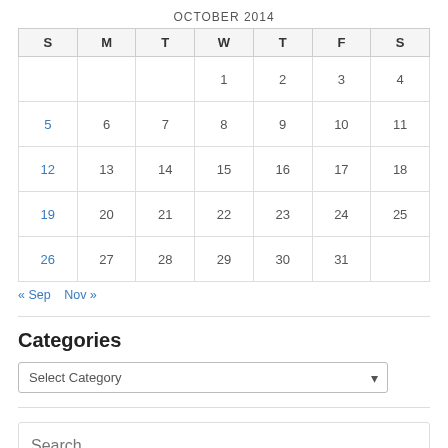OCTOBER 2014
| S | M | T | W | T | F | S |
| --- | --- | --- | --- | --- | --- | --- |
|  |  |  | 1 | 2 | 3 | 4 |
| 5 | 6 | 7 | 8 | 9 | 10 | 11 |
| 12 | 13 | 14 | 15 | 16 | 17 | 18 |
| 19 | 20 | 21 | 22 | 23 | 24 | 25 |
| 26 | 27 | 28 | 29 | 30 | 31 |  |
« Sep   Nov »
Categories
Select Category
Search